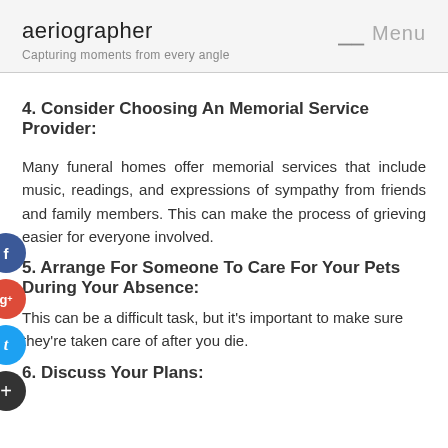aeriographer
Capturing moments from every angle
4. Consider Choosing An Memorial Service Provider:
Many funeral homes offer memorial services that include music, readings, and expressions of sympathy from friends and family members. This can make the process of grieving easier for everyone involved.
5. Arrange For Someone To Care For Your Pets During Your Absence:
This can be a difficult task, but it's important to make sure they're taken care of after you die.
6. Discuss Your Plans: